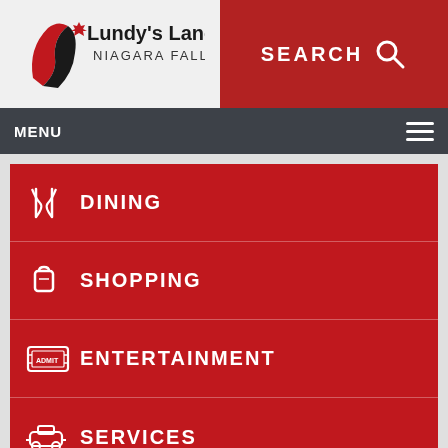[Figure (logo): Lundy's Lane Niagara Falls logo with red ribbon/maple leaf graphic]
SEARCH
MENU
DINING
SHOPPING
ENTERTAINMENT
SERVICES
Latest News
[Figure (photo): Bottom image strip showing partial photos]